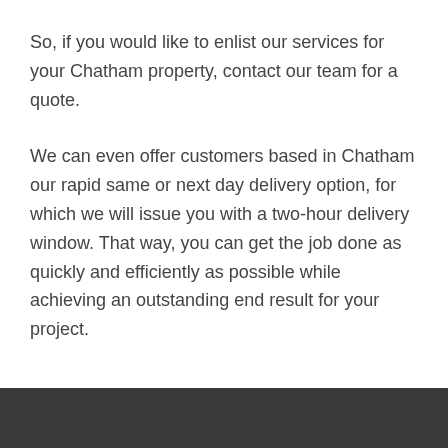So, if you would like to enlist our services for your Chatham property, contact our team for a quote.
We can even offer customers based in Chatham our rapid same or next day delivery option, for which we will issue you with a two-hour delivery window. That way, you can get the job done as quickly and efficiently as possible while achieving an outstanding end result for your project.